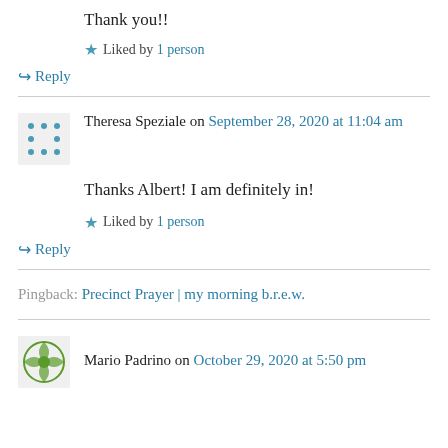Thank you!!
★ Liked by 1 person
↳ Reply
Theresa Speziale on September 28, 2020 at 11:04 am
Thanks Albert! I am definitely in!
★ Liked by 1 person
↳ Reply
Pingback: Precinct Prayer | my morning b.r.e.w.
Mario Padrino on October 29, 2020 at 5:50 pm